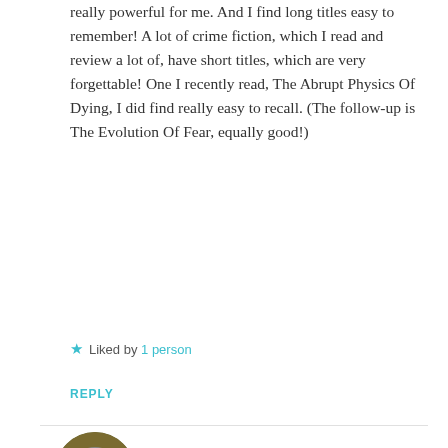really powerful for me. And I find long titles easy to remember! A lot of crime fiction, which I read and review a lot of, have short titles, which are very forgettable! One I recently read, The Abrupt Physics Of Dying, I did find really easy to recall. (The follow-up is The Evolution Of Fear, equally good!)
★ Liked by 1 person
REPLY
[Figure (photo): Circular avatar photo of Claire Fuller, a woman with glasses wearing a yellow/mustard top, photographed outdoors]
Claire Fuller
MAY 5, 2015 AT 4:40 PM